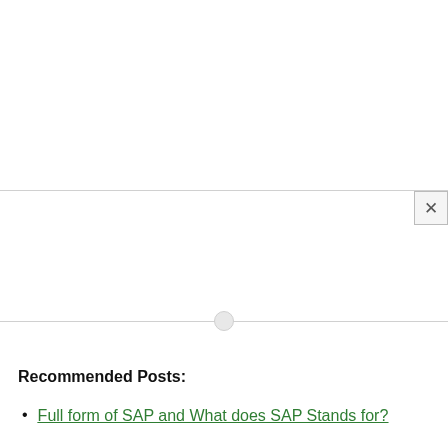[Figure (screenshot): Top blank white area representing an ad or content region above a horizontal divider line with a close (X) button at upper right]
Recommended Posts:
Full form of SAP and What does SAP Stands for?